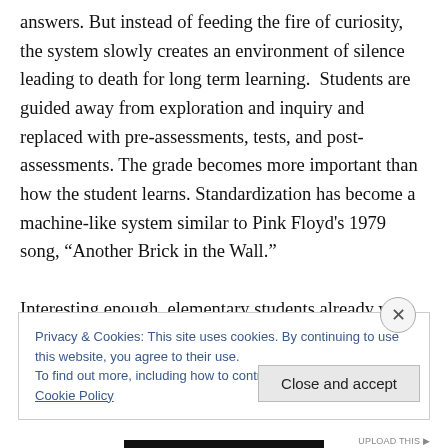answers. But instead of feeding the fire of curiosity, the system slowly creates an environment of silence leading to death for long term learning.  Students are guided away from exploration and inquiry and replaced with pre-assessments, tests, and post-assessments. The grade becomes more important than how the student learns. Standardization has become a machine-like system similar to Pink Floyd's 1979 song, “Another Brick in the Wall.”

Interesting enough, elementary students already walk in
Privacy & Cookies: This site uses cookies. By continuing to use this website, you agree to their use.
To find out more, including how to control cookies, see here: Cookie Policy
Close and accept